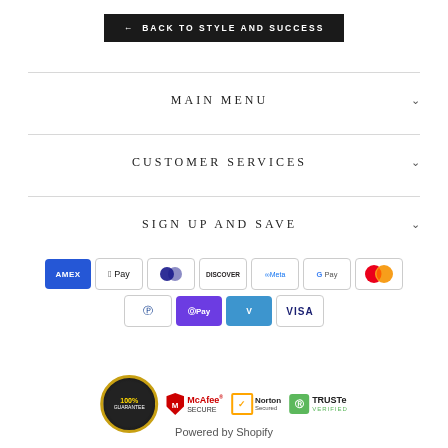← BACK TO STYLE AND SUCCESS
MAIN MENU
CUSTOMER SERVICES
SIGN UP AND SAVE
[Figure (logo): Payment method logos: AMEX, Apple Pay, Diners Club, Discover, Meta Pay, Google Pay, Mastercard, PayPal, OPay, Venmo, VISA]
[Figure (logo): Trust badges: 100% Satisfaction Guaranteed seal, McAfee SECURE, Norton Secured, TRUSTe Verified]
Powered by Shopify